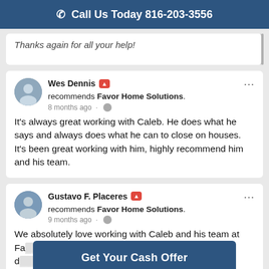Call Us Today 816-203-3556
Thanks again for all your help!
Wes Dennis recommends Favor Home Solutions.
8 months ago
It's always great working with Caleb. He does what he says and always does what he can to close on houses. It's been great working with him, highly recommend him and his team.
Gustavo F. Placeres recommends Favor Home Solutions.
9 months ago
We absolutely love working with Caleb and his team at Fa... best in what they d... em!!!
Get Your Cash Offer